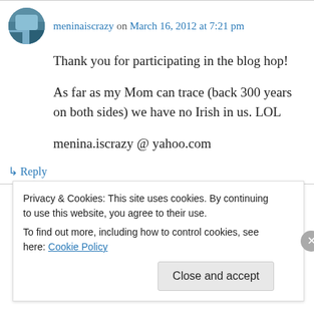meninaiscrazy on March 16, 2012 at 7:21 pm
Thank you for participating in the blog hop!

As far as my Mom can trace (back 300 years on both sides) we have no Irish in us. LOL

menina.iscrazy @ yahoo.com
↳ Reply
Privacy & Cookies: This site uses cookies. By continuing to use this website, you agree to their use.
To find out more, including how to control cookies, see here: Cookie Policy